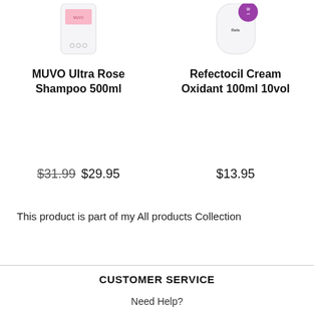[Figure (photo): MUVO Ultra Rose Shampoo 500ml product bottle image (partial, top of page)]
[Figure (photo): Refectocil Cream Oxidant 100ml 10vol product bottle image (partial, top of page)]
MUVO Ultra Rose Shampoo 500ml
$31.99  $29.95
Refectocil Cream Oxidant 100ml 10vol
$13.95
This product is part of my All products Collection
CUSTOMER SERVICE
Need Help?